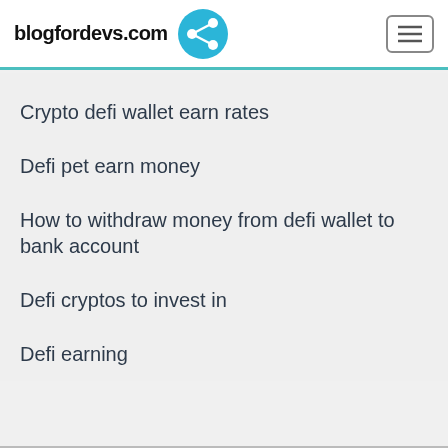blogfordevs.com
Crypto defi wallet earn rates
Defi pet earn money
How to withdraw money from defi wallet to bank account
Defi cryptos to invest in
Defi earning